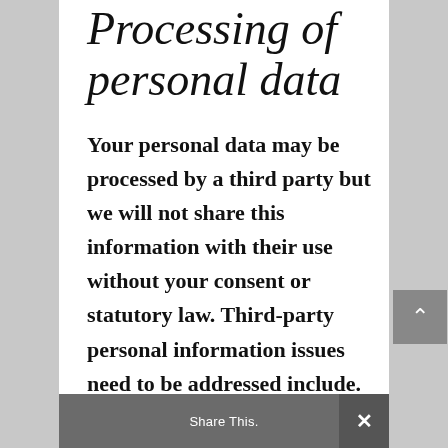Processing of personal data
Your personal data may be processed by a third party but we will not share this information with their use without your consent or statutory law. Third-party personal information issues need to be addressed include. payment, accounting, authority or technical Access to
Share This.